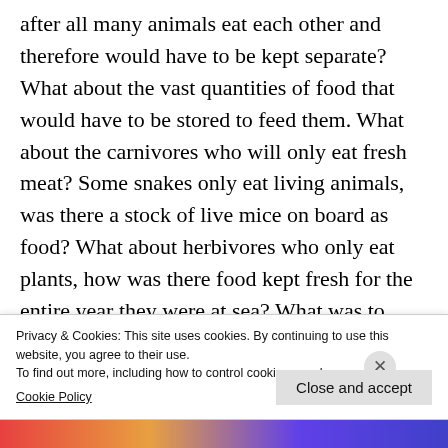after all many animals eat each other and therefore would have to be kept separate? What about the vast quantities of food that would have to be stored to feed them. What about the carnivores who will only eat fresh meat? Some snakes only eat living animals, was there a stock of live mice on board as food? What about herbivores who only eat plants, how was there food kept fresh for the entire year they were at sea? What was to prevent food from spoiling? What about d...
Privacy & Cookies: This site uses cookies. By continuing to use this website, you agree to their use.
To find out more, including how to control cookies, see here:
Cookie Policy